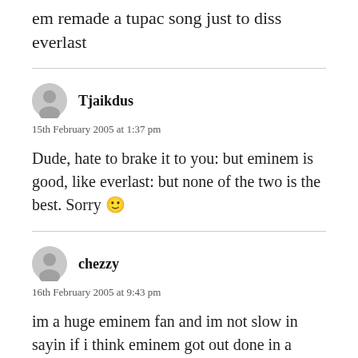em remade a tupac song just to diss everlast
Tjaikdus
15th February 2005 at 1:37 pm
Dude, hate to brake it to you: but eminem is good, like everlast: but none of the two is the best. Sorry 🙂
chezzy
16th February 2005 at 9:43 pm
im a huge eminem fan and im not slow in sayin if i think eminem got out done in a freestyle by